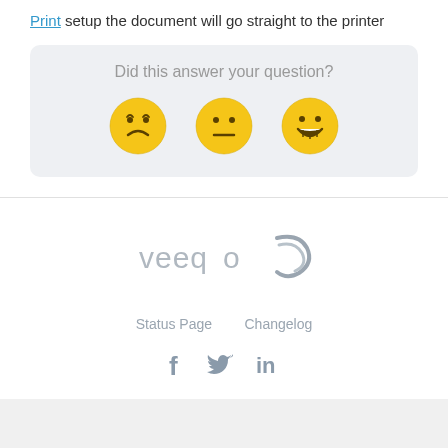Print setup the document will go straight to the printer
Did this answer your question?
[Figure (infographic): Three emoji faces: sad, neutral, and happy for user feedback rating]
[Figure (logo): Veeqo logo with stylized arc/swoosh graphic in grey]
Status Page   Changelog
[Figure (infographic): Social media icons: Facebook, Twitter, LinkedIn]